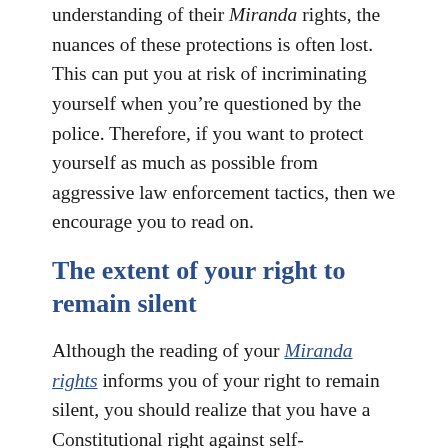understanding of their Miranda rights, the nuances of these protections is often lost. This can put you at risk of incriminating yourself when you're questioned by the police. Therefore, if you want to protect yourself as much as possible from aggressive law enforcement tactics, then we encourage you to read on.
The extent of your right to remain silent
Although the reading of your Miranda rights informs you of your right to remain silent, you should realize that you have a Constitutional right against self-incrimination. Therefore, you are never required to talk to the police, regardless of what investigators tell you.
This can be tricky to remember, especially given that law enforcement officers only have to read you your